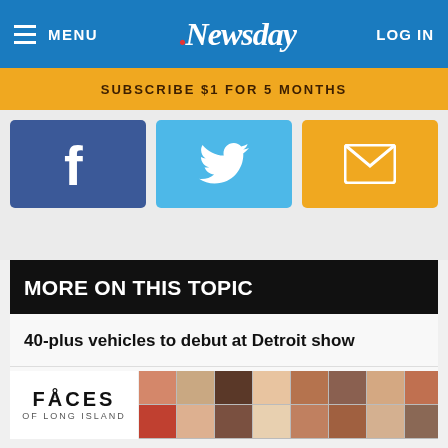MENU | Newsday | LOG IN
SUBSCRIBE $1 FOR 5 MONTHS
[Figure (infographic): Three social sharing buttons: Facebook (blue), Twitter (light blue), Email (orange/gold)]
MORE ON THIS TOPIC
40-plus vehicles to debut at Detroit show
Ne...
[Figure (infographic): Faces of Long Island advertisement overlay with grid of portrait photos]